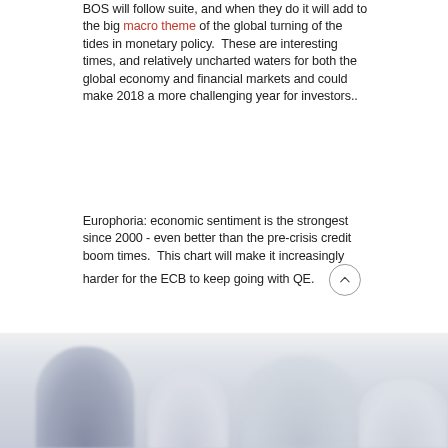BOS will follow suite, and when they do it will add to the big macro theme of the global turning of the tides in monetary policy.  These are interesting times, and relatively uncharted waters for both the global economy and financial markets and could make 2018 a more challenging year for investors..
Europhoria: economic sentiment is the strongest since 2000 - even better than the pre-crisis credit boom times.  This chart will make it increasingly harder for the ECB to keep going with QE.
[Figure (other): Blurred/partially visible chart at the bottom of the page, content not fully visible]